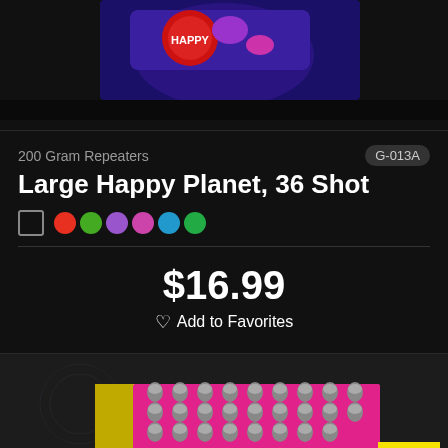[Figure (photo): Top portion of a fireworks product package box, colorful packaging visible at top.]
200 Gram Repeaters
G-013A
Large Happy Planet, 36 Shot
$16.99
Add to Favorites
[Figure (photo): Fireworks battery product — Saturn Battery, yellow box with many grey mortar tubes loaded with pink shells visible from top, colorful label.]